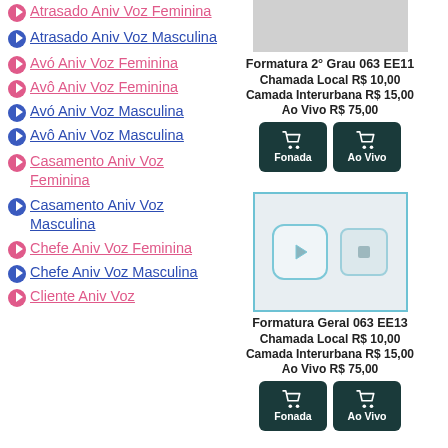Atrasado Aniv Voz Feminina
Atrasado Aniv Voz Masculina
Avó Aniv Voz Feminina
Avô Aniv Voz Feminina
Avó Aniv Voz Masculina
Avô Aniv Voz Masculina
Casamento Aniv Voz Feminina
Casamento Aniv Voz Masculina
Chefe Aniv Voz Feminina
Chefe Aniv Voz Masculina
Cliente Aniv Voz
[Figure (screenshot): Product card for Formatura 2° Grau 063 EE11 with gray image placeholder, prices Chamada Local R$ 10,00 / Camada Interurbana R$ 15,00 / Ao Vivo R$ 75,00 and two dark buttons: Fonada and Ao Vivo]
[Figure (screenshot): Product card for Formatura Geral 063 EE13 with audio player interface (play and stop buttons), prices Chamada Local R$ 10,00 / Camada Interurbana R$ 15,00 / Ao Vivo R$ 75,00 and two dark buttons: Fonada and Ao Vivo]